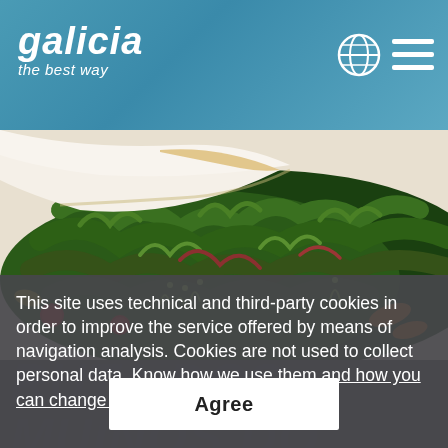[Figure (logo): Galicia 'the best way' tourism logo in white on blue header, with globe icon and hamburger menu icon on the right]
[Figure (photo): Close-up food photo of a white fish fillet served on a bed of dark green leafy seaweed/greens with colorful garnishes (cherry tomatoes, orange carrots, sprouts) on a white plate]
This site uses technical and third-party cookies in order to improve the service offered by means of navigation analysis. Cookies are not used to collect personal data. Know how we use them and how you can change your settings.
Agree